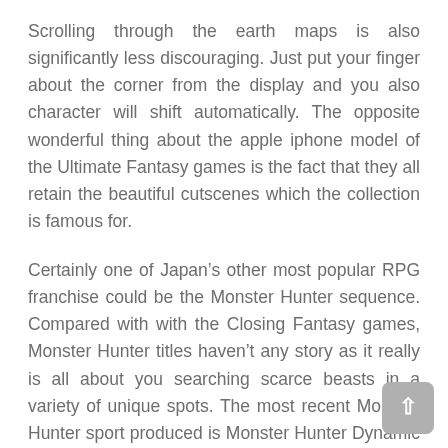Scrolling through the earth maps is also significantly less discouraging. Just put your finger about the corner from the display and you also character will shift automatically. The opposite wonderful thing about the apple iphone model of the Ultimate Fantasy games is the fact that they all retain the beautiful cutscenes which the collection is famous for.
Certainly one of Japan’s other most popular RPG franchise could be the Monster Hunter sequence. Compared with with the Closing Fantasy games, Monster Hunter titles haven’t any story as it really is all about you searching scarce beasts in a variety of unique spots. The most recent Monster Hunter sport produced is Monster Hunter Dynamic Hunting. The contact monitor plays a big purpose during the video game still it’s uncomplicated to discover the controls.
Tapping the display along with your finger permits you to assault, even though sliding your fingers over the